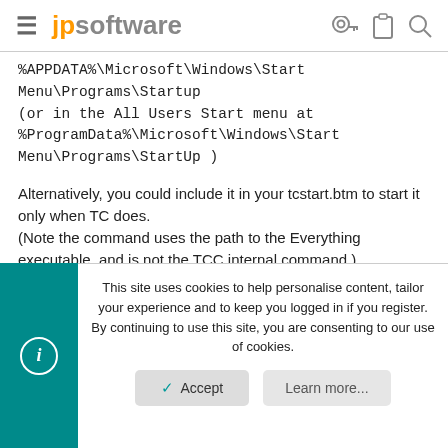jpsoftware
%APPDATA%\Microsoft\Windows\Start Menu\Programs\Startup
(or in the All Users Start menu at %ProgramData%\Microsoft\Windows\Start Menu\Programs\StartUp )
Alternatively, you could include it in your tcstart.btm to start it only when TC does.
(Note the command uses the path to the Everything executable, and is not the TCC internal command.)
The Everything executable will appear in the Notification area or Taskbar.
This site uses cookies to help personalise content, tailor your experience and to keep you logged in if you register.
By continuing to use this site, you are consenting to our use of cookies.